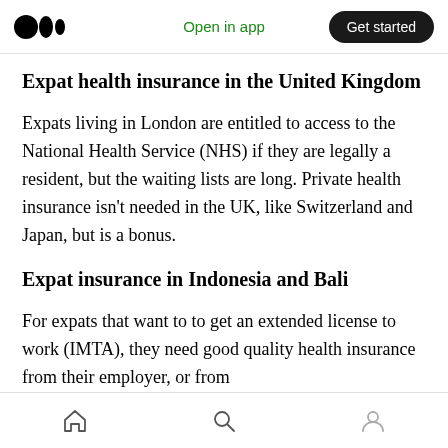Open in app | Get started
Expat health insurance in the United Kingdom
Expats living in London are entitled to access to the National Health Service (NHS) if they are legally a resident, but the waiting lists are long. Private health insurance isn't needed in the UK, like Switzerland and Japan, but is a bonus.
Expat insurance in Indonesia and Bali
For expats that want to to get an extended license to work (IMTA), they need good quality health insurance from their employer, or from
Home | Search | Profile